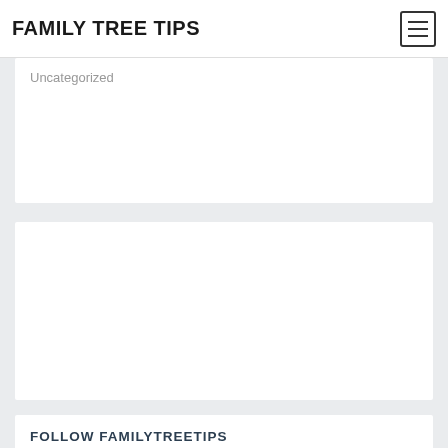FAMILY TREE TIPS
Uncategorized
[Figure (other): Empty white card/advertisement placeholder]
FOLLOW FAMILYTREETIPS